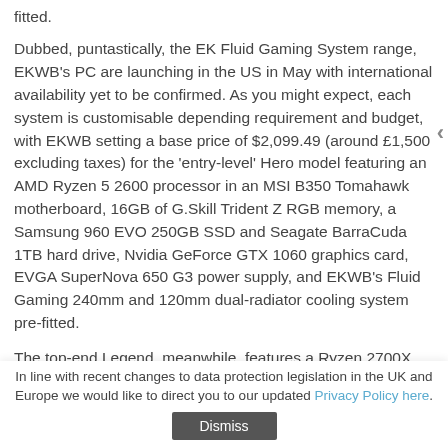fitted.
Dubbed, puntastically, the EK Fluid Gaming System range, EKWB's PC are launching in the US in May with international availability yet to be confirmed. As you might expect, each system is customisable depending requirement and budget, with EKWB setting a base price of $2,099.49 (around £1,500 excluding taxes) for the 'entry-level' Hero model featuring an AMD Ryzen 5 2600 processor in an MSI B350 Tomahawk motherboard, 16GB of G.Skill Trident Z RGB memory, a Samsung 960 EVO 250GB SSD and Seagate BarraCuda 1TB hard drive, Nvidia GeForce GTX 1060 graphics card, EVGA SuperNova 650 G3 power supply, and EKWB's Fluid Gaming 240mm and 120mm dual-radiator cooling system pre-fitted.
The top-end Legend, meanwhile, features a Ryzen 2700X
In line with recent changes to data protection legislation in the UK and Europe we would like to direct you to our updated Privacy Policy here.
Dismiss